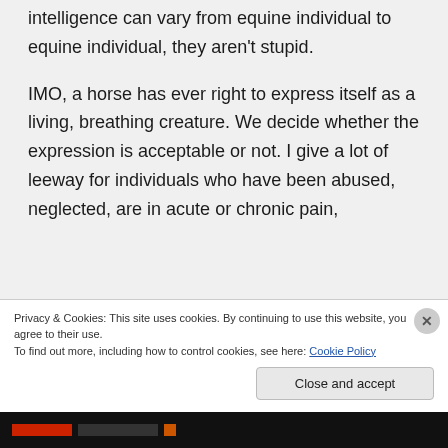intelligence can vary from equine individual to equine individual, they aren't stupid.
IMO, a horse has ever right to express itself as a living, breathing creature. We decide whether the expression is acceptable or not. I give a lot of leeway for individuals who have been abused, neglected, are in acute or chronic pain,
Privacy & Cookies: This site uses cookies. By continuing to use this website, you agree to their use.
To find out more, including how to control cookies, see here: Cookie Policy
Close and accept